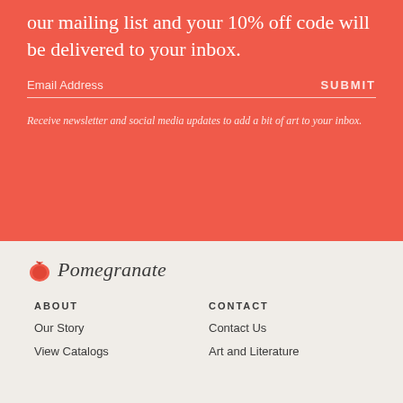our mailing list and your 10% off code will be delivered to your inbox.
Email Address
SUBMIT
Receive newsletter and social media updates to add a bit of art to your inbox.
[Figure (logo): Pomegranate logo with pomegranate fruit icon and italic script text]
ABOUT
CONTACT
Our Story
Contact Us
View Catalogs
Art and Literature